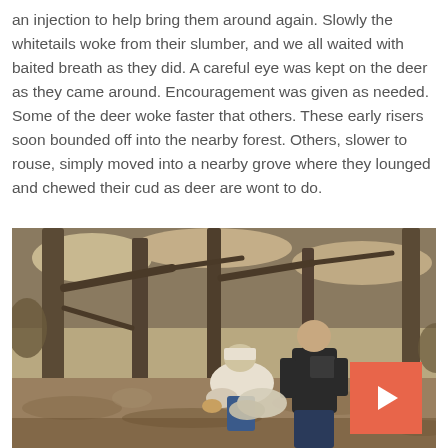an injection to help bring them around again. Slowly the whitetails woke from their slumber, and we all waited with baited breath as they did. A careful eye was kept on the deer as they came around. Encouragement was given as needed. Some of the deer woke faster that others. These early risers soon bounded off into the nearby forest. Others, slower to rouse, simply moved into a nearby grove where they lounged and chewed their cud as deer are wont to do.
[Figure (photo): Outdoor forest scene showing two people bending over near trees in a wooded area with leaf-covered ground. An orange play button overlay is visible in the lower right corner of the image.]